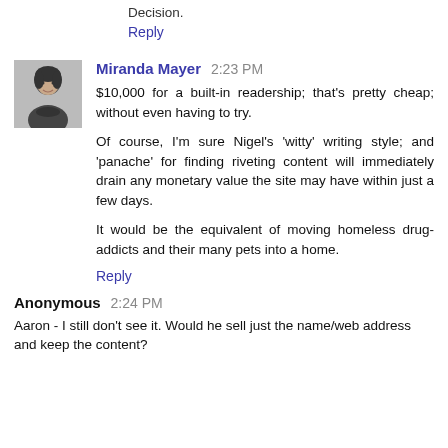Decision.
Reply
Miranda Mayer  2:23 PM
$10,000 for a built-in readership; that's pretty cheap; without even having to try.

Of course, I'm sure Nigel's 'witty' writing style; and 'panache' for finding riveting content will immediately drain any monetary value the site may have within just a few days.

It would be the equivalent of moving homeless drug-addicts and their many pets into a home.
Reply
Anonymous  2:24 PM
Aaron - I still don't see it. Would he sell just the name/web address and keep the content?